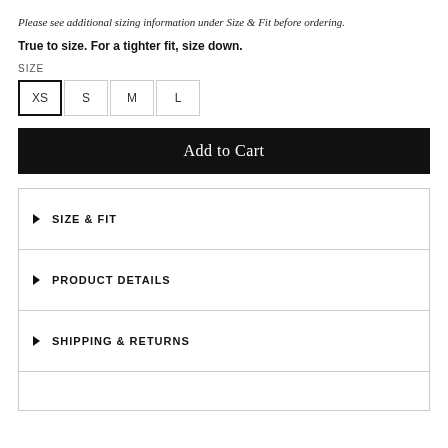Please see additional sizing information under Size & Fit before ordering.
True to size. For a tighter fit, size down.
SIZE
[Figure (other): Size selector buttons: XS (selected), S, M, L]
Add to Cart
SIZE & FIT
PRODUCT DETAILS
SHIPPING & RETURNS